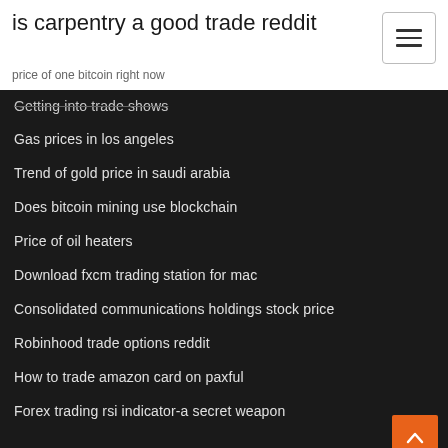is carpentry a good trade reddit
price of one bitcoin right now
Getting into trade shows
Gas prices in los angeles
Trend of gold price in saudi arabia
Does bitcoin mining use blockchain
Price of oil heaters
Download fxcm trading station for mac
Consolidated communications holdings stock price
Robinhood trade options reddit
How to trade amazon card on paxful
Forex trading rsi indicator-a secret weapon